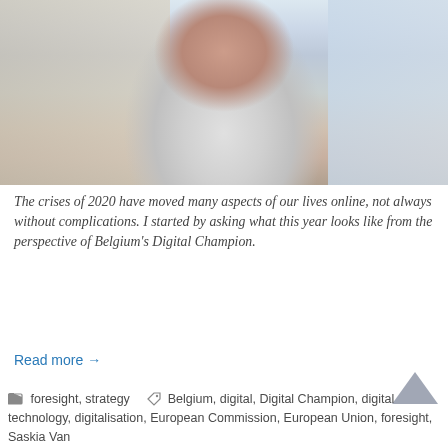[Figure (photo): Portrait photo of a woman with glasses wearing a light grey blazer, smiling, in an indoor setting with blurred background]
The crises of 2020 have moved many aspects of our lives online, not always without complications. I started by asking what this year looks like from the perspective of Belgium's Digital Champion.
Read more →
foresight, strategy   Belgium, digital, Digital Champion, digital technology, digitalisation, European Commission, European Union, foresight, Saskia Van